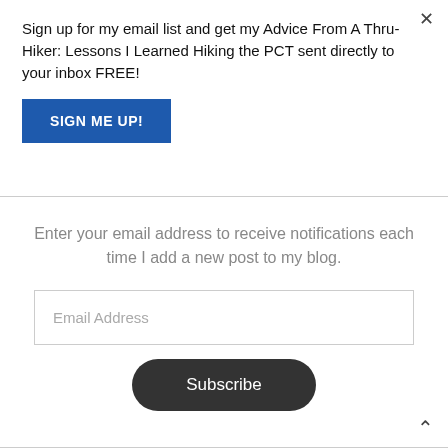×
Sign up for my email list and get my Advice From A Thru-Hiker: Lessons I Learned Hiking the PCT sent directly to your inbox FREE!
SIGN ME UP!
Enter your email address to receive notifications each time I add a new post to my blog.
Email Address
Subscribe